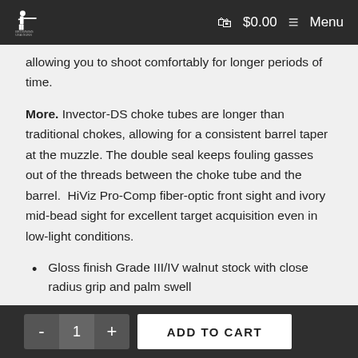BROWNING USA GUNS  $0.00  Menu
allowing you to shoot comfortably for longer periods of time.
More. Invector-DS choke tubes are longer than traditional chokes, allowing for a consistent barrel taper at the muzzle. The double seal keeps fouling gasses out of the threads between the choke tube and the barrel.  HiViz Pro-Comp fiber-optic front sight and ivory mid-bead sight for excellent target acquisition even in low-light conditions.
Gloss finish Grade III/IV walnut stock with close radius grip and palm swell
Monte Carlo comb
Semi-beavertail forearm with finger grooves
- 1 + ADD TO CART